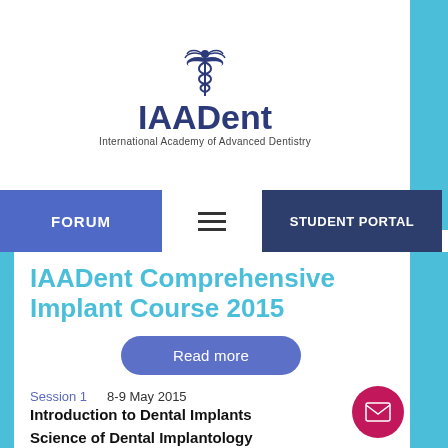[Figure (logo): IAADent logo with caduceus medical symbol above text 'IAADent' and subtitle 'International Academy of Advanced Dentistry']
FORUM   ≡   STUDENT PORTAL
IAAADent Comprehensive Implant Course 2015
Read more
Session 1   8-9 May 2015
Introduction to Dental Implants
Science of Dental Implantology
Session 2   5-6 June 2015
Surgical site and bone evaluation
Surgical setup and augmentation materials